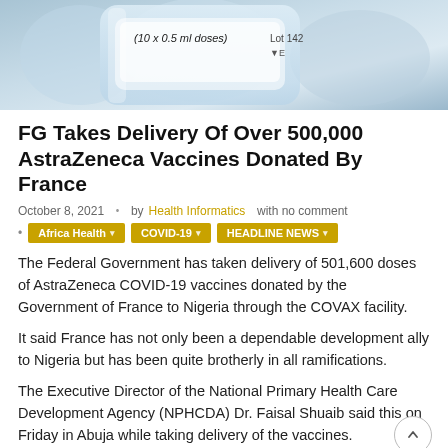[Figure (photo): Close-up photograph of AstraZeneca COVID-19 vaccine vials with label reading (10 x 0.5 ml doses)]
FG Takes Delivery Of Over 500,000 AstraZeneca Vaccines Donated By France
October 8, 2021 · by Health Informatics with no comment
Africa Health
COVID-19
HEADLINE NEWS
The Federal Government has taken delivery of 501,600 doses of AstraZeneca COVID-19 vaccines donated by the Government of France to Nigeria through the COVAX facility.
It said France has not only been a dependable development ally to Nigeria but has been quite brotherly in all ramifications.
The Executive Director of the National Primary Health Care Development Agency (NPHCDA) Dr. Faisal Shuaib said this on Friday in Abuja while taking delivery of the vaccines.